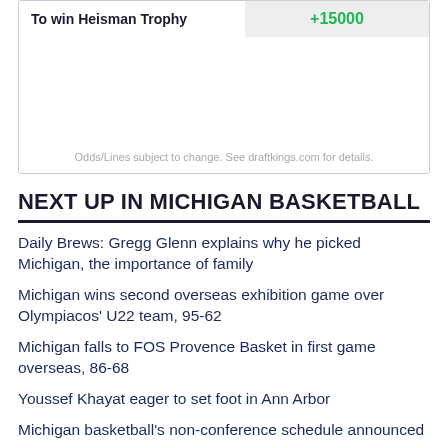| To win Heisman Trophy | +15000 |
| --- | --- |
Odds/Lines subject to change. See draftkings.com for details.
NEXT UP IN MICHIGAN BASKETBALL
Daily Brews: Gregg Glenn explains why he picked Michigan, the importance of family
Michigan wins second overseas exhibition game over Olympiacos' U22 team, 95-62
Michigan falls to FOS Provence Basket in first game overseas, 86-68
Youssef Khayat eager to set foot in Ann Arbor
Michigan basketball's non-conference schedule announced
Juwan Howard talks Jace's offseason improvements, the